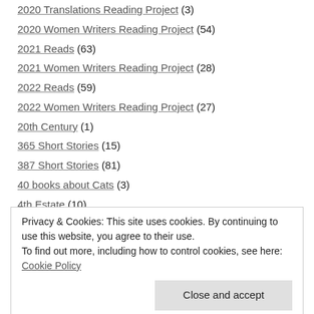2020 Translations Reading Project (3)
2020 Women Writers Reading Project (54)
2021 Reads (63)
2021 Women Writers Reading Project (28)
2022 Reads (59)
2022 Women Writers Reading Project (27)
20th Century (1)
365 Short Stories (15)
387 Short Stories (81)
40 books about Cats (3)
4th Estate (10)
500 Must-Read Literary Fiction (37)
A.L. Kennedy (1)
Privacy & Cookies: This site uses cookies. By continuing to use this website, you agree to their use. To find out more, including how to control cookies, see here: Cookie Policy
Adams Media (1)